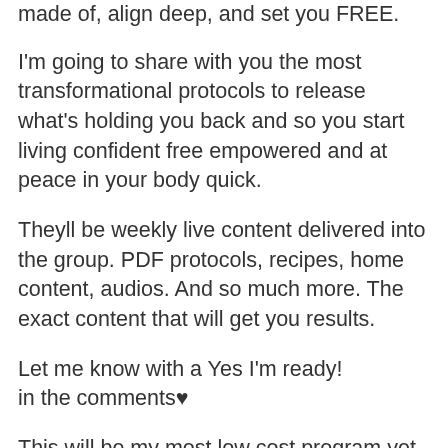made of, align deep, and set you FREE.
I'm going to share with you the most transformational protocols to release what's holding you back and so you start living confident free empowered and at peace in your body quick.
Theyll be weekly live content delivered into the group. PDF protocols, recipes, home content, audios. And so much more. The exact content that will get you results.
Let me know with a Yes I'm ready! in the comments♥
This will be my most low cost program yet. It's going to be so LIBERATING. with absolute next level results! as always.